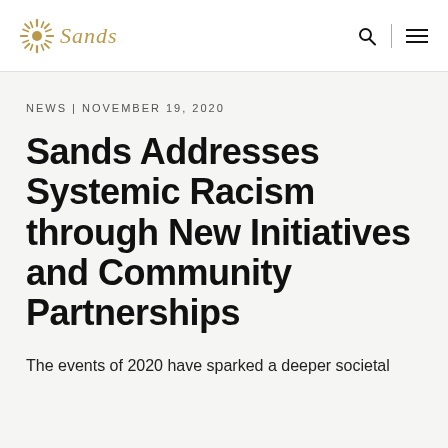Sands
NEWS | NOVEMBER 19, 2020
Sands Addresses Systemic Racism through New Initiatives and Community Partnerships
The events of 2020 have sparked a deeper societal